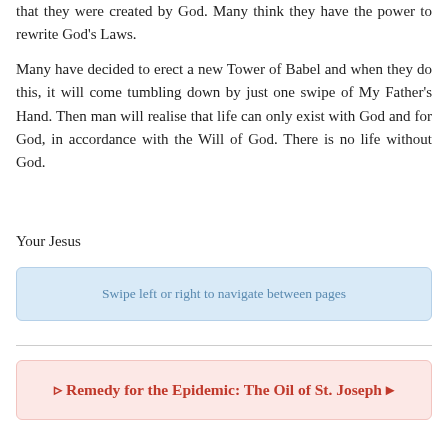that they were created by God. Many think they have the power to rewrite God's Laws.
Many have decided to erect a new Tower of Babel and when they do this, it will come tumbling down by just one swipe of My Father's Hand. Then man will realise that life can only exist with God and for God, in accordance with the Will of God. There is no life without God.
Your Jesus
Swipe left or right to navigate between pages
➡ Remedy for the Epidemic: The Oil of St. Joseph ⬅